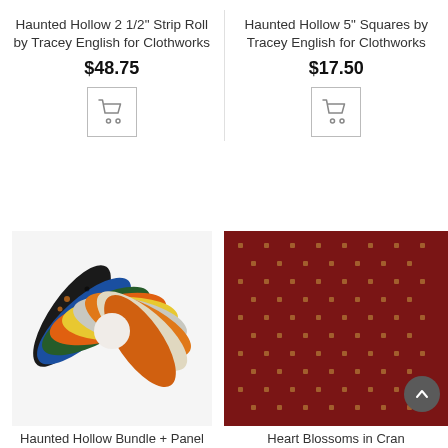Haunted Hollow 2 1/2" Strip Roll by Tracey English for Clothworks
$48.75
[Figure (other): Shopping cart icon button]
Haunted Hollow 5" Squares by Tracey English for Clothworks
$17.50
[Figure (other): Shopping cart icon button]
[Figure (photo): Haunted Hollow Bundle + Panel - a fan of Halloween-themed fabric pieces including orange, black, blue, green, white, yellow fabrics with spiders, pumpkins, cats, and other Halloween motifs]
[Figure (photo): Heart Blossoms in Cranberry - dark red/cranberry fabric with small repeating gold/tan heart or clover pattern]
Haunted Hollow Bundle + Panel
Heart Blossoms in Cran